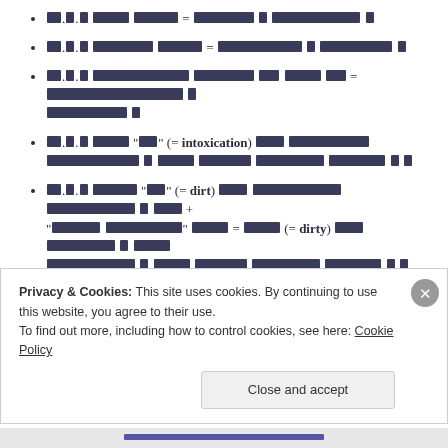□.□.□ □□□□ □□□□□ = □□□□□□□ □ □□□□□-□□□□□□□□□ □
□.□.□ □□□□□□□ □□□□□ = □□□□□□□□□□ □ □□□□□□□□ □
□.□.□ □□□□□□□□□□□ □□□□□□□ □□ □□□□ □□ = □□□□□□□□□□□□□□□□ □ □□□□□□□□□ □
□.□.□ □□□□ "□□" (= intoxication) □□□ □□□□□□□□□□ □□□□□□□□□□ □ □□□□ □□□□□□ □□□□□□□□ □□□□□□ □ □
□.□.□ □□□□□ "□□" (= dirt) □□□ □□□□□□□□□□ □□□□□□□□□□ □ □□□ + "□□□□□ □□□□□□□□" □□□□ = □□□□ (= dirty) □□□ □□□□□□□□ □ □□□□ □□□□□□□□□□ □ □□□□ □□□□□□ □□□□□□□□ □□□□□□ □ □
Privacy & Cookies: This site uses cookies. By continuing to use this website, you agree to their use.
To find out more, including how to control cookies, see here: Cookie Policy
Close and accept